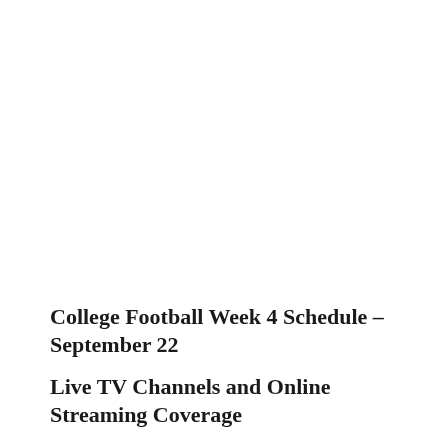College Football Week 4 Schedule – September 22
Live TV Channels and Online Streaming Coverage